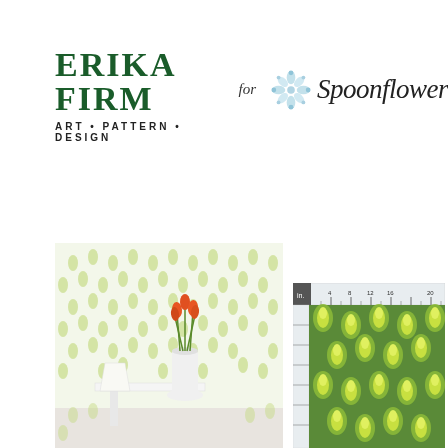[Figure (logo): Erika Firm for Spoonflower logo — Erika Firm in dark green serif uppercase with tagline ART • PATTERN • DESIGN, followed by 'for' in italic, a snowflake/flower icon, and Spoonflower in italic script]
[Figure (photo): Interior room scene showing wallpaper with small leaf/artichoke pattern in light green on white background, with a vase of orange tulips and a white table lamp]
[Figure (photo): Fabric swatch on ruler showing artichoke/leaf pattern in yellow-green on dark green background, with ruler measurements visible at top]